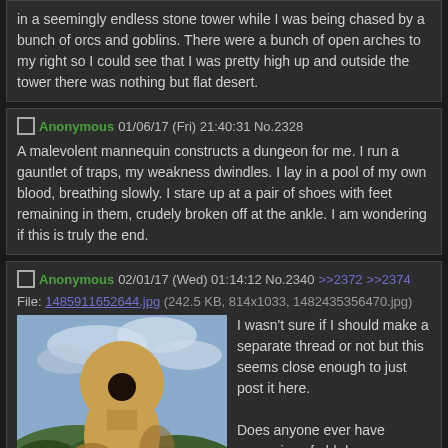in a seemingly endless stone tower while I was being chased by a bunch of orcs and goblins. There were a bunch of open arches to my right so I could see that I was pretty high up and outside the tower there was nothing but flat desert.
Anonymous 01/06/17 (Fri) 21:40:31 No.2328
A malevolent mannequin constructs a dungeon for me. I run a gauntlet of traps, my weakness dwindles. I lay in a pool of my own blood, breathing slowly. I stare up at a pair of shoes with feet remaining in them, crudely broken off at the ankle. I am wondering if this is truly the end.
Anonymous 02/01/17 (Wed) 01:14:12 No.2340 >>2372 >>2374
File: 1485911652644.jpg (242.5 KB, 814x1033, 1482435356470.jpg)
[Figure (illustration): A surrealist painting showing a figure with a large round head in a natural landscape with green hills and cloudy sky.]
I wasn't sure if I should make a separate thread or not but this seems close enough to just post it here.

Does anyone ever have memories of old dreams randomly come to them? Not just childhood ones